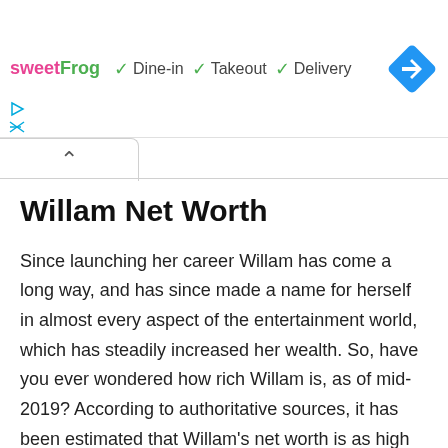[Figure (screenshot): Sweet Frog advertisement banner with logo, checkmarks for Dine-in, Takeout, Delivery options, and a blue diamond navigation icon]
Willam Net Worth
Since launching her career Willam has come a long way, and has since made a name for herself in almost every aspect of the entertainment world, which has steadily increased her wealth. So, have you ever wondered how rich Willam is, as of mid- 2019? According to authoritative sources, it has been estimated that Willam's net worth is as high as $1 million, which is rather decent